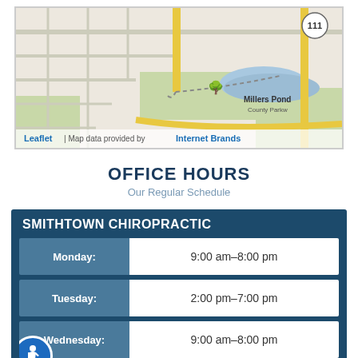[Figure (map): Street map showing Millers Pond area with roads, County Parkway, route 111, and Leaflet/Internet Brands attribution]
OFFICE HOURS
Our Regular Schedule
| Day | Hours |
| --- | --- |
| Monday: | 9:00 am–8:00 pm |
| Tuesday: | 2:00 pm–7:00 pm |
| Wednesday: | 9:00 am–8:00 pm |